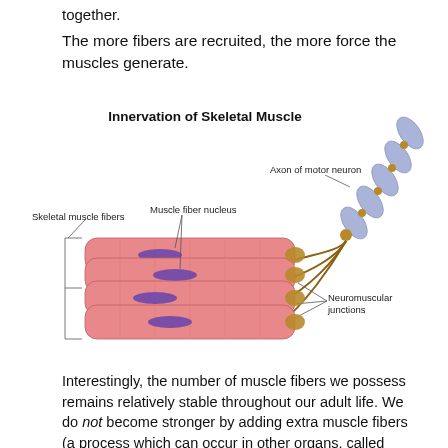together.
The more fibers are recruited, the more force the muscles generate.
[Figure (illustration): Diagram titled 'Innervation of Skeletal Muscle' showing a motor neuron axon (blue segmented structure) connecting via neuromuscular junctions (brown) to four stacked pink skeletal muscle fibers containing purple nuclei. Labels indicate: Axon of motor neuron, Skeletal muscle fibers, Muscle fiber nucleus, Neuromuscular junctions.]
Interestingly, the number of muscle fibers we possess remains relatively stable throughout our adult life. We do not become stronger by adding extra muscle fibers (a process which can occur in other organs, called